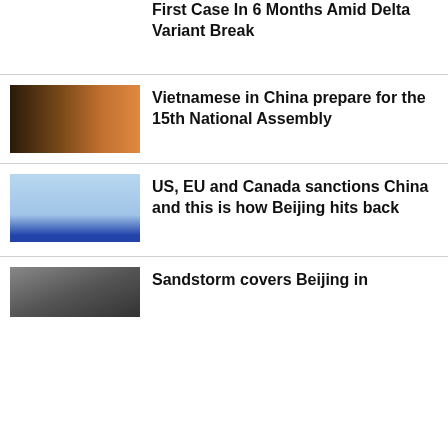First Case In 6 Months Amid Delta Variant Break
[Figure (photo): Thumbnail image for Vietnamese in China story - dark brownish gradient]
Vietnamese in China prepare for the 15th National Assembly
[Figure (photo): Thumbnail image for US, EU and Canada sanctions story - blue sky and building]
US, EU and Canada sanctions China and this is how Beijing hits back
[Figure (photo): Thumbnail image for Sandstorm story - portrait]
Sandstorm covers Beijing in